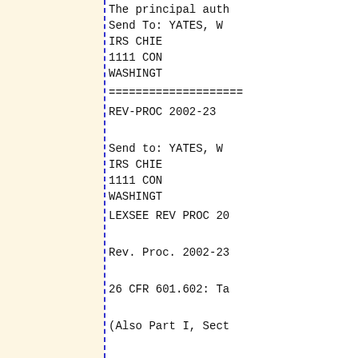The principal auth
Send To:   YATES, W
IRS CHIE
1111 CON
WASHINGT
===================
REV-PROC 2002-23
Send to:   YATES, W
IRS CHIE
1111 CON
WASHINGT
LEXSEE REV PROC 20
Rev. Proc. 2002-23
26 CFR 601.602: Ta
(Also Part I, Sect